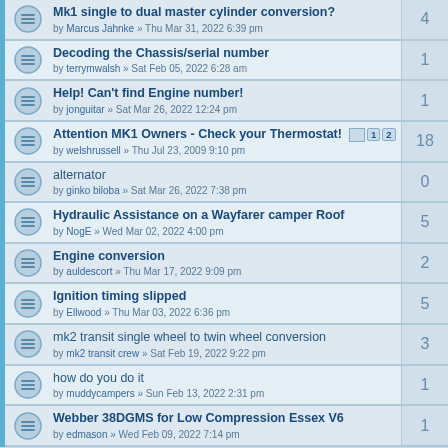Mk1 single to dual master cylinder conversion? by Marcus Jahnke » Thu Mar 31, 2022 6:39 pm | replies: 4
Decoding the Chassis/serial number by terrymwalsh » Sat Feb 05, 2022 6:28 am | replies: 1
Help! Can't find Engine number! by jonguitar » Sat Mar 26, 2022 12:24 pm | replies: 1
Attention MK1 Owners - Check your Thermostat! by welshrussell » Thu Jul 23, 2009 9:10 pm | replies: 18
alternator by ginko biloba » Sat Mar 26, 2022 7:38 pm | replies: 0
Hydraulic Assistance on a Wayfarer camper Roof by NogE » Wed Mar 02, 2022 4:00 pm | replies: 5
Engine conversion by auldescort » Thu Mar 17, 2022 9:09 pm | replies: 2
Ignition timing slipped by Ellwood » Thu Mar 03, 2022 6:36 pm | replies: 5
mk2 transit single wheel to twin wheel conversion by mk2 transit crew » Sat Feb 19, 2022 9:22 pm | replies: 3
how do you do it by muddycampers » Sun Feb 13, 2022 2:31 pm | replies: 1
Webber 38DGMS for Low Compression Essex V6 by edmason » Wed Feb 09, 2022 7:14 pm | replies: 1